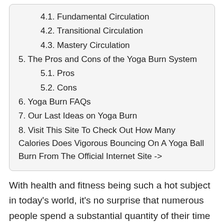4.1. Fundamental Circulation
4.2. Transitional Circulation
4.3. Mastery Circulation
5. The Pros and Cons of the Yoga Burn System
5.1. Pros
5.2. Cons
6. Yoga Burn FAQs
7. Our Last Ideas on Yoga Burn
8. Visit This Site To Check Out How Many Calories Does Vigorous Bouncing On A Yoga Ball Burn From The Official Internet Site ->
With health and fitness being such a hot subject in today's world, it's no surprise that numerous people spend a substantial quantity of their time looking for the very best workout routine as well as set of workouts to obtain themselves in shape.